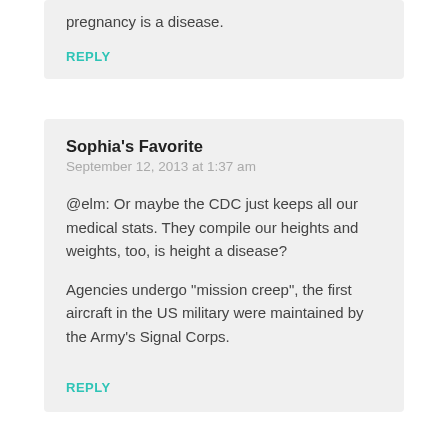pregnancy is a disease.
REPLY
Sophia's Favorite
September 12, 2013 at 1:37 am
@elm: Or maybe the CDC just keeps all our medical stats. They compile our heights and weights, too, is height a disease?
Agencies undergo "mission creep", the first aircraft in the US military were maintained by the Army's Signal Corps.
REPLY
Leave a Reply